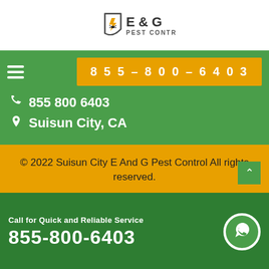[Figure (logo): E & G Pest Control logo with shield icon containing an insect, lightning bolt in orange, text E & G in dark and PEST CONTROL below]
855-800-6403
855 800 6403
Suisun City, CA
© 2022 Suisun City E And G Pest Control All rights reserved.
Call for Quick and Reliable Service
855-800-6403